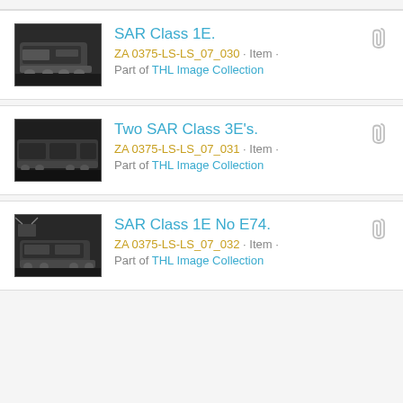SAR Class 1E. | ZA 0375-LS-LS_07_030 · Item · Part of THL Image Collection
Two SAR Class 3E's. | ZA 0375-LS-LS_07_031 · Item · Part of THL Image Collection
SAR Class 1E No E74. | ZA 0375-LS-LS_07_032 · Item · Part of THL Image Collection